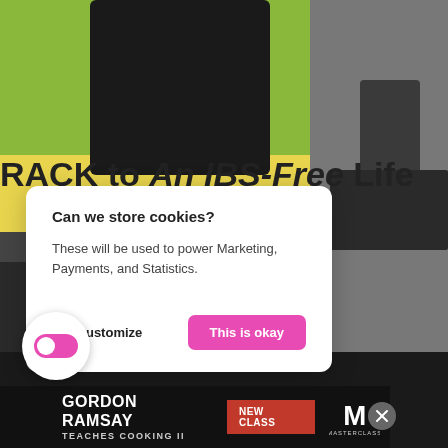[Figure (screenshot): Screenshot of a website showing a cookie consent dialog overlaid on a page about IBS-Free Life, with a laptop in background, a MasterClass ad banner at the bottom for Gordon Ramsay Teaches Cooking II, a toggle button circle on the lower left, and a close button on the right.]
RACK to An IBS-Free Life
Can we store cookies?
These will be used to power Marketing, Payments, and Statistics.
No, Customize
This is okay
GORDON RAMSAY TEACHES COOKING II
NEW CLASS